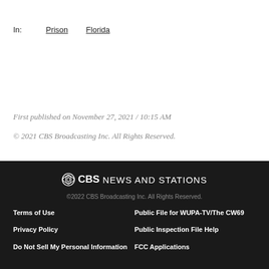In: Prison Florida
First published on November 27, 2021 / 10:15 AM
© 2021 CBS Broadcasting Inc. All Rights Reserved.
CBS NEWS AND STATIONS
© 2022 CBS Broadcasting Inc. All Rights Reserved.
Terms of Use | Privacy Policy | Do Not Sell My Personal Information | Public File for WUPA-TV/The CW69 | Public Inspection File Help | FCC Applications